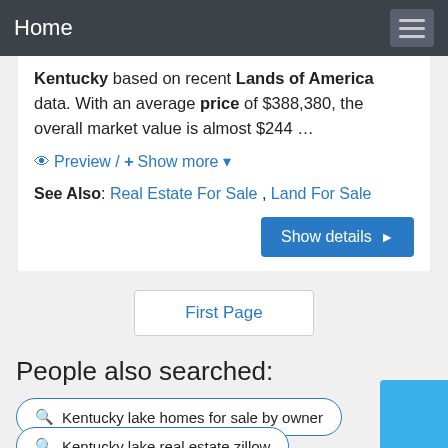Home
Kentucky based on recent Lands of America data. With an average price of $388,380, the overall market value is almost $244 …
Preview / + Show more
See Also: Real Estate For Sale , Land For Sale
Show details ▶
First Page
People also searched:
Kentucky lake homes for sale by owner
Kentucky lake real estate zillow